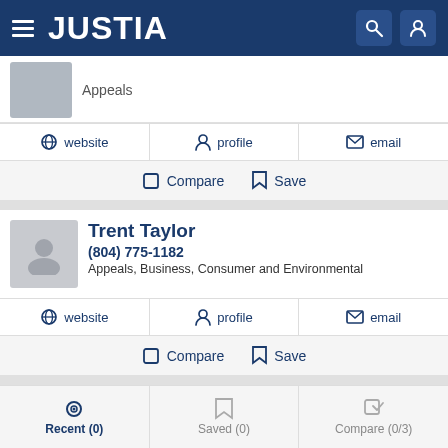JUSTIA
Appeals
website   profile   email
Compare   Save
Trent Taylor
(804) 775-1182
Appeals, Business, Consumer and Environmental
website   profile   email
Compare   Save
Recent (0)   Saved (0)   Compare (0/3)